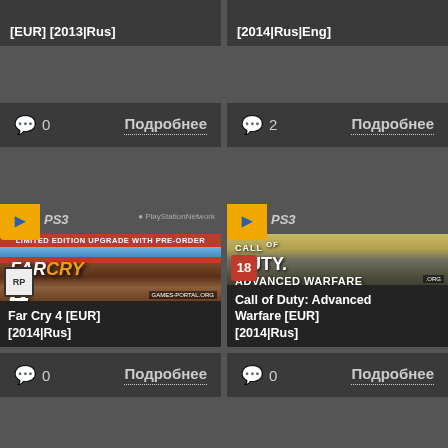[EUR] [2013|Rus]
[2014|Rus|Eng]
💬 0   Подробнее
💬 2   Подробнее
[Figure (photo): Far Cry 4 Limited Edition PS3 game cover with PS3 badge]
Far Cry 4 [EUR] [2014|Rus]
[Figure (photo): Call of Duty Advanced Warfare PS3 game cover with PS3 badge]
Call of Duty: Advanced Warfare [EUR] [2014|Rus]
💬 0   Подробнее
💬 0   Подробнее